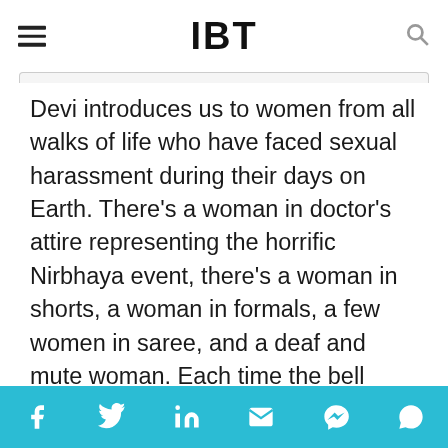IBT
Devi introduces us to women from all walks of life who have faced sexual harassment during their days on Earth. There's a woman in doctor's attire representing the horrific Nirbhaya event, there's a woman in shorts, a woman in formals, a few women in saree, and a deaf and mute woman. Each time the bell rings these ladies quarrel whether or not they should allow the next person to enter. We are unable to realise what is this space until the film ends with an eight-year-old making her entrance reminding us of the Kathua incident
Social share icons: Facebook, Twitter, LinkedIn, Email, Messenger, WhatsApp